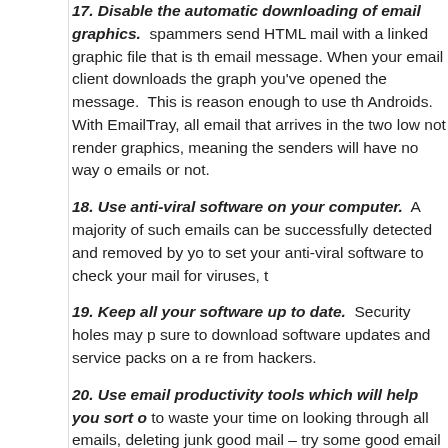17. Disable the automatic downloading of email graphics. spammers send HTML mail with a linked graphic file that is the email message. When your email client downloads the graph you've opened the message. This is reason enough to use th Androids. With EmailTray, all email that arrives in the two low not render graphics, meaning the senders will have no way o emails or not.
18. Use anti-viral software on your computer. A majority of such emails can be successfully detected and removed by yo to set your anti-viral software to check your mail for viruses, t
19. Keep all your software up to date. Security holes may p sure to download software updates and service packs on a re from hackers.
20. Use email productivity tools which will help you sort o to waste your time on looking through all emails, deleting junk good mail – try some good email productivity tools available o Priority Inbox and EmailTray have provided a solution to help productivity. The advantage of the EmailTray email client is th priority emails – a must-have feature for effective time manag
Rescue good mail from spam filter mistakes